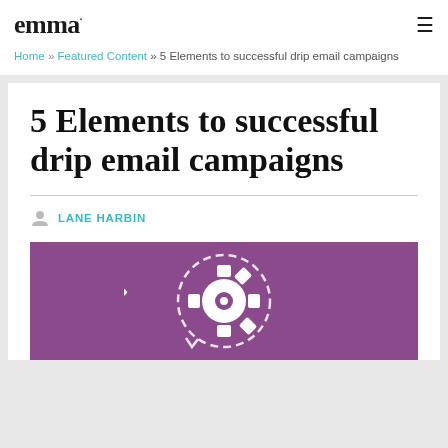emma
Home » Featured Content » 5 Elements to successful drip email campaigns
5 Elements to successful drip email campaigns
LANE HARBIN
[Figure (illustration): Purple/mauve background with a white gear/cog icon inside a dashed circular arrow, suggesting automation or drip campaign settings]